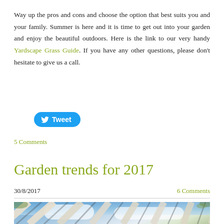Way up the pros and cons and choose the option that best suits you and your family. Summer is here and it is time to get out into your garden and enjoy the beautiful outdoors. Here is the link to our very handy Yardscape Grass Guide. If you have any other questions, please don't hesitate to give us a call.
[Figure (screenshot): Twitter Tweet button (blue pill-shaped button with bird icon and 'Tweet' text)]
5 Comments
Garden trends for 2017
30/8/2017
6 Comments
[Figure (photo): View looking up through a white pergola structure with radiating beams against a blue sky with clouds and some green foliage visible at edges]